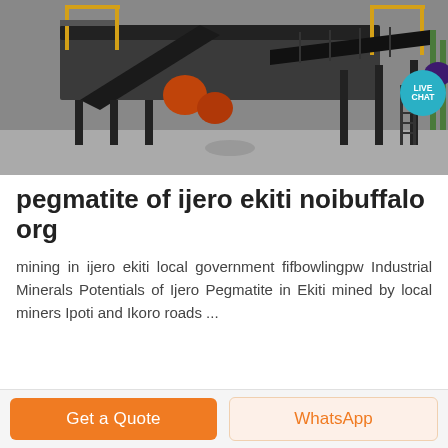[Figure (photo): Industrial mining equipment / conveyor belt machinery in a factory setting, with yellow metal railings and structures. A 'LIVE CHAT' badge with teal circle and purple chat bubble icon overlays the top-right corner of the image.]
pegmatite of ijero ekiti noibuffalo org
mining in ijero ekiti local government fifbowlingpw Industrial Minerals Potentials of Ijero Pegmatite in Ekiti mined by local miners Ipoti and Ikoro roads ...
Get a Quote | WhatsApp